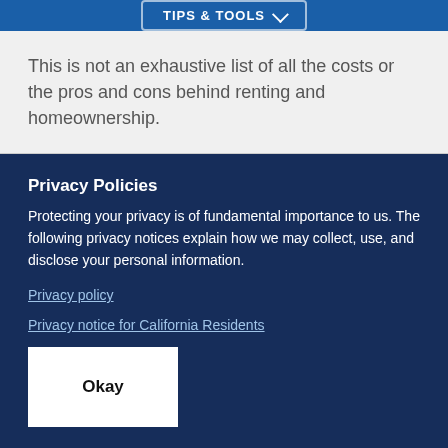TIPS & TOOLS
This is not an exhaustive list of all the costs or the pros and cons behind renting and homeownership.
Privacy Policies
Protecting your privacy is of fundamental importance to us. The following privacy notices explain how we may collect, use, and disclose your personal information.
Privacy policy
Privacy notice for California Residents
Okay